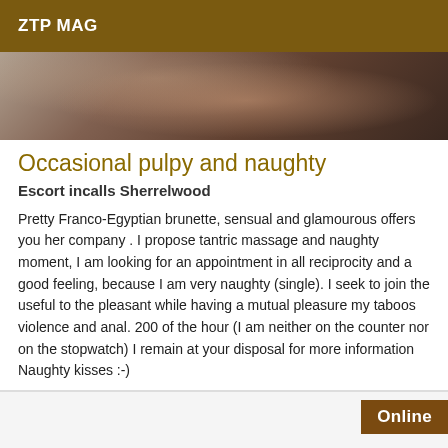ZTP MAG
[Figure (photo): Close-up photo of a person, dark tones, partial face/hair visible]
Occasional pulpy and naughty
Escort incalls Sherrelwood
Pretty Franco-Egyptian brunette, sensual and glamourous offers you her company . I propose tantric massage and naughty moment, I am looking for an appointment in all reciprocity and a good feeling, because I am very naughty (single). I seek to join the useful to the pleasant while having a mutual pleasure my taboos violence and anal. 200 of the hour (I am neither on the counter nor on the stopwatch) I remain at your disposal for more information Naughty kisses :-)
Online